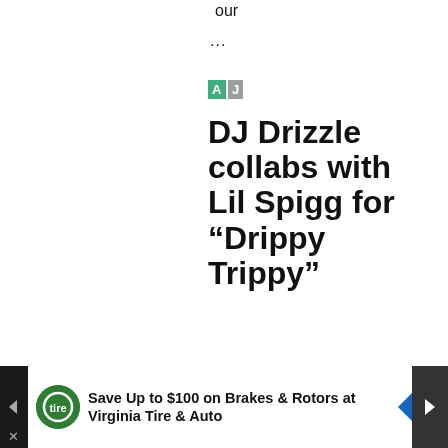our
...
[Figure (logo): Small logo with green 'A' square and gray square]
DJ Drizzle collabs with Lil Spigg for “Drippy Trippy”
By
Victory
[Figure (infographic): Advertisement bar: Save Up to $100 on Brakes & Rotors at Virginia Tire & Auto]